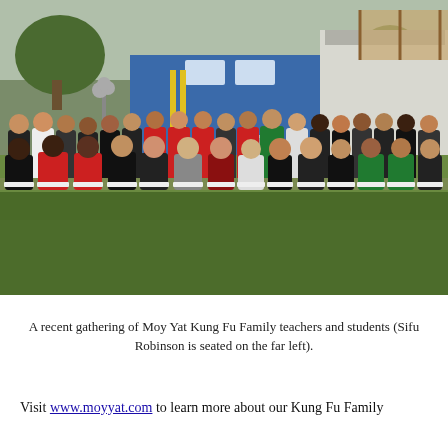[Figure (photo): Group photo of Moy Yat Kung Fu Family teachers and students gathered outdoors on a grass lawn in front of a blue building. People are arranged in two rows — standing in back and seated in white plastic chairs in front. Various colored shirts visible: black, red, white, green. Trees and a residential structure visible in background.]
A recent gathering of Moy Yat Kung Fu Family teachers and students (Sifu Robinson is seated on the far left).
Visit www.moyyat.com to learn more about our Kung Fu Family